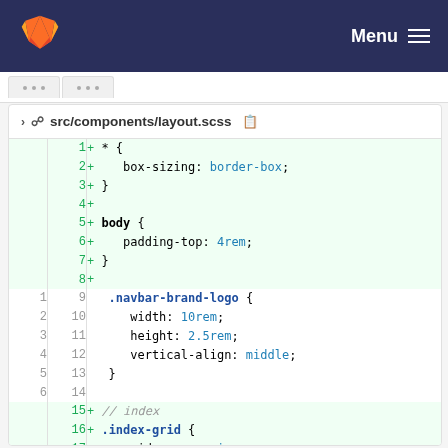GitLab navigation bar with logo and Menu
[Figure (screenshot): Tab bar with two unnamed tabs]
src/components/layout.scss file diff view
1  + * {
2  +    box-sizing: border-box;
3  + }
4  +
5  + body {
6  +    padding-top: 4rem;
7  + }
8  +
1 9    .navbar-brand-logo {
2 10       width: 10rem;
3 11       height: 2.5rem;
4 12       vertical-align: middle;
5 13   }
6 14
   15 + // index
   16 + .index-grid {
   17 +    grid-area: main